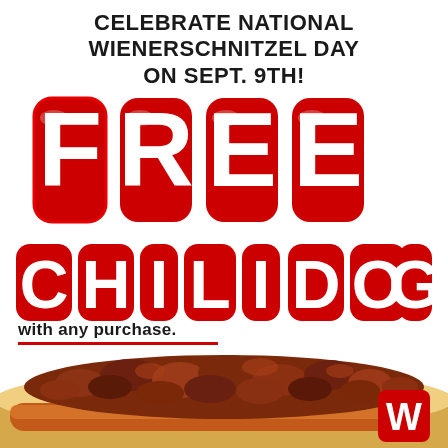CELEBRATE NATIONAL WIENERSCHNITZEL DAY ON SEPT. 9TH!
FREE
CHILI DOG
with any purchase.
[Figure (photo): A chili dog with rich meat chili sauce on a bun, with the Wienerschnitzel W logo visible in the lower right corner.]